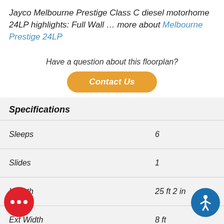Jayco Melbourne Prestige Class C diesel motorhome 24LP highlights: Full Wall … more about Melbourne Prestige 24LP
Have a question about this floorplan?
Contact Us
| Specification | Value |
| --- | --- |
| Sleeps | 6 |
| Slides | 1 |
| Length | 25 ft 2 in |
| Ext Width | 8 ft |
| Ext Height | 10 ft 11 in |
| Height | 6 ft 8 in |
| Interior Color | Denmark |